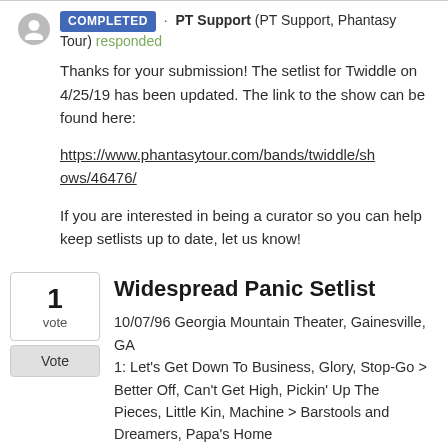COMPLETED · PT Support (PT Support, Phantasy Tour) responded
Thanks for your submission! The setlist for Twiddle on 4/25/19 has been updated. The link to the show can be found here:
https://www.phantasytour.com/bands/twiddle/shows/46476/
If you are interested in being a curator so you can help keep setlists up to date, let us know!
Widespread Panic Setlist
10/07/96 Georgia Mountain Theater, Gainesville, GA
1: Let's Get Down To Business, Glory, Stop-Go > Better Off, Can't Get High, Pickin' Up The Pieces, Little Kin, Machine > Barstools and Dreamers, Papa's Home
2: Last Dance, Disco, You Got Yours, Airplane >